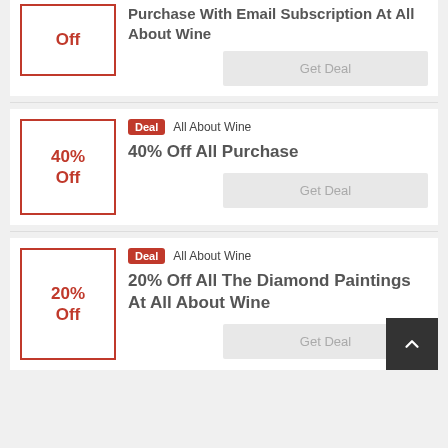Off
Purchase With Email Subscription At All About Wine
Get Deal
40% Off
Deal  All About Wine
40% Off All Purchase
Get Deal
20% Off
Deal  All About Wine
20% Off All The Diamond Paintings At All About Wine
Get Deal